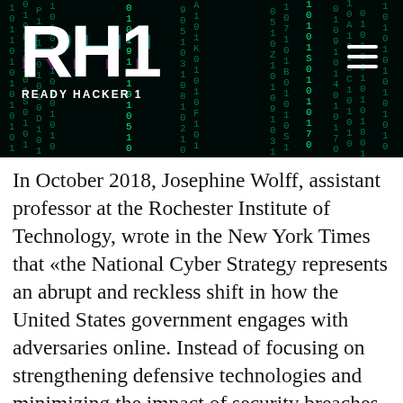[Figure (logo): Ready Hacker 1 website header banner with dark background showing matrix-style green digital rain, large white 'RH1' logo with cyan/magenta glitch effect, 'READY HACKER 1' tagline below, and hamburger menu icon in top right]
In October 2018, Josephine Wolff, assistant professor at the Rochester Institute of Technology, wrote in the New York Times that «the National Cyber Strategy represents an abrupt and reckless shift in how the United States government engages with adversaries online. Instead of focusing on strengthening defensive technologies and minimizing the impact of security breaches, the Trump